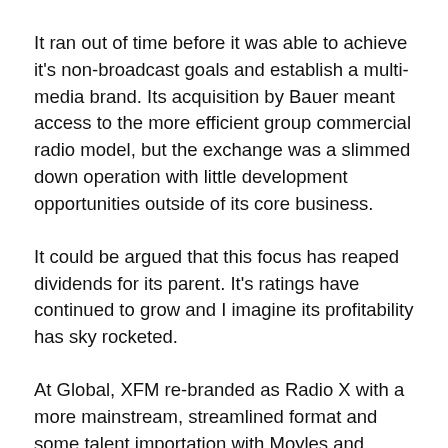It ran out of time before it was able to achieve it's non-broadcast goals and establish a multi-media brand. Its acquisition by Bauer meant access to the more efficient group commercial radio model, but the exchange was a slimmed down operation with little development opportunities outside of its core business.
It could be argued that this focus has reaped dividends for its parent. It's ratings have continued to grow and I imagine its profitability has sky rocketed.
At Global, XFM re-branded as Radio X with a more mainstream, streamlined format and some talent importation with Moyles and Vaughan. A similar